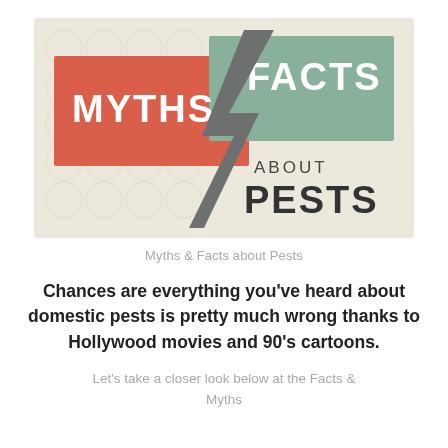[Figure (infographic): Infographic header showing 'MYTHS' in white text on a red/coral rectangle on the left, 'FACTS' in white text on a sage green rectangle on the right, overlapping with a large grey lightning bolt arrow pointing down, and text 'ABOUT PESTS' below on a light beige background with subtle circular patterns.]
Myths & Facts about Pests
Chances are everything you’ve heard about domestic pests is pretty much wrong thanks to Hollywood movies and 90’s cartoons.
Let’s take a closer look below at the Facts & Myths